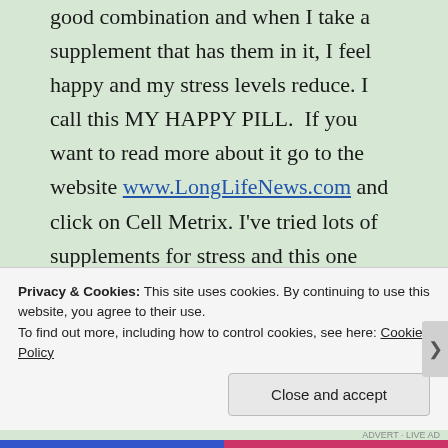good combination and when I take a supplement that has them in it, I feel happy and my stress levels reduce. I call this MY HAPPY PILL.  If you want to read more about it go to the website www.LongLifeNews.com and click on Cell Metrix. I've tried lots of supplements for stress and this one seems to get me smiling and let me cope much better with daily stresses, road rage and the computer !
PS>If you want my new free e book
Privacy & Cookies: This site uses cookies. By continuing to use this website, you agree to their use.
To find out more, including how to control cookies, see here: Cookie Policy
Close and accept